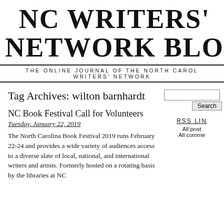NC WRITERS' NETWORK BLO
THE ONLINE JOURNAL OF THE NORTH CAROLINA WRITERS' NETWORK
Tag Archives: wilton barnhardt
NC Book Festival Call for Volunteers
Tuesday, January 22, 2019
The North Carolina Book Festival 2019 runs February 22-24 and provides a wide variety of audiences access to a diverse slate of local, national, and international writers and artists. Formerly hosted on a rotating basis by the libraries at NC
RSS LIN
All post
All comme